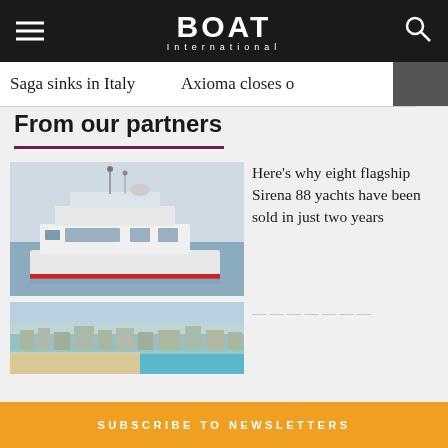BOAT International
Saga sinks in Italy   Axioma closes o
From our partners
[Figure (photo): White motor yacht Sirena 88 on water, front/side view]
Here’s why eight flagship Sirena 88 yachts have been sold in just two years
[Figure (photo): Aerial view of coastline with turquoise water and town]
SUBSCRIBE TO NEWSLETTERS